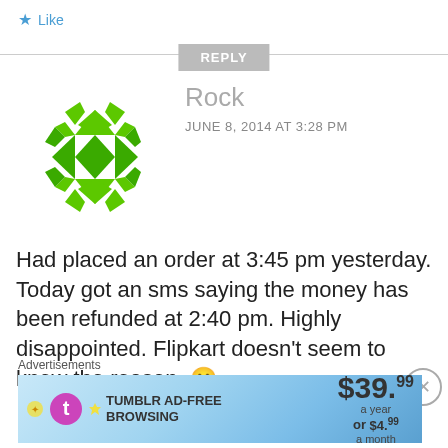Like
REPLY
[Figure (illustration): Green geometric snowflake/diamond pattern avatar for user Rock]
Rock
JUNE 8, 2014 AT 3:28 PM
Had placed an order at 3:45 pm yesterday. Today got an sms saying the money has been refunded at 2:40 pm. Highly disappointed. Flipkart doesn't seem to know the reason.
Advertisements
[Figure (screenshot): Tumblr Ad-Free Browsing advertisement banner showing $39.99 a year or $4.99 a month]